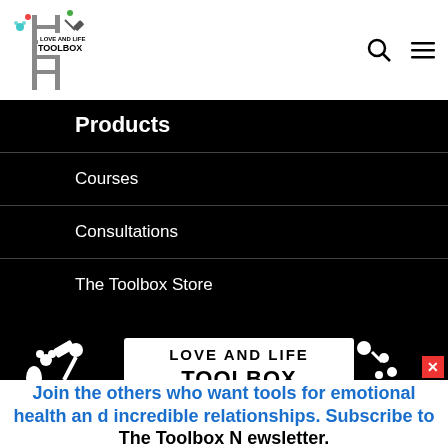[Figure (logo): Love and Life Toolbox logo - ladder with toolbox sign, colorful icons]
Products
Courses
Consultations
The Toolbox Store
[Figure (logo): Love and Life Toolbox large logo on black background - Love and Life Toolbox sign with hammer and flowers]
Join the others who want tools for emotional health and incredible relationships. Subscribe to The Toolbox Newsletter.